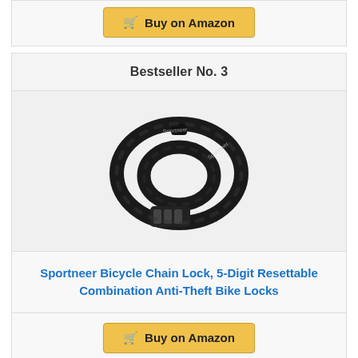[Figure (other): Buy on Amazon button (partial, top of page)]
Bestseller No. 3
[Figure (photo): Sportneer black bicycle chain lock coiled in a spiral with combination dial, showing brand name text on the sleeve]
Sportneer Bicycle Chain Lock, 5-Digit Resettable Combination Anti-Theft Bike Locks
[Figure (other): Buy on Amazon button]